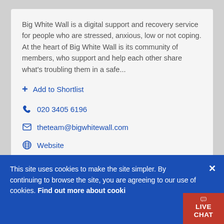Big White Wall is a digital support and recovery service for people who are stressed, anxious, low or not coping. At the heart of Big White Wall is its community of members, who support and help each other share what's troubling them in a safe...
+ Add to Shortlist
020 3405 6196
theteam@bigwhitewall.com
Website
This site uses cookies to make the site simpler. By continuing to browse the site, you are agreeing to our use of cookies. Find out more about cooki…